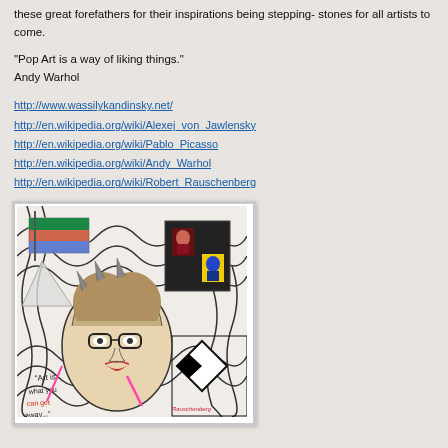these great forefathers for their inspirations being stepping-stones for all artists to come.
"Pop Art is a way of liking things."
Andy Warhol
http://www.wassilykandinsky.net/
http://en.wikipedia.org/wiki/Alexej_von_Jawlensky
http://en.wikipedia.org/wiki/Pablo_Picasso
http://en.wikipedia.org/wiki/Andy_Warhol
http://en.wikipedia.org/wiki/Robert_Rauschenberg
[Figure (photo): A framed mixed-media artwork featuring a stylized portrait with black-and-white swirling patterns, a face with glasses and red lips, abstract figures, graffiti-style text, and small color photographs embedded in the composition.]